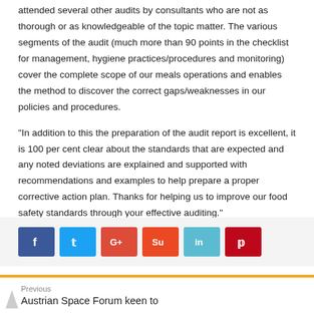attended several other audits by consultants who are not as thorough or as knowledgeable of the topic matter. The various segments of the audit (much more than 90 points in the checklist for management, hygiene practices/procedures and monitoring) cover the complete scope of our meals operations and enables the method to discover the correct gaps/weaknesses in our policies and procedures.
“In addition to this the preparation of the audit report is excellent, it is 100 per cent clear about the standards that are expected and any noted deviations are explained and supported with recommendations and examples to help prepare a proper corrective action plan. Thanks for helping us to improve our food safety standards through your effective auditing.”
Information Source: Muscat Daily
[Figure (other): Social media share buttons: Facebook (blue), Twitter (light blue), Google+ (red), StumbleUpon (orange-red), LinkedIn (teal), Pinterest (red)]
Previous
Austrian Space Forum keen to